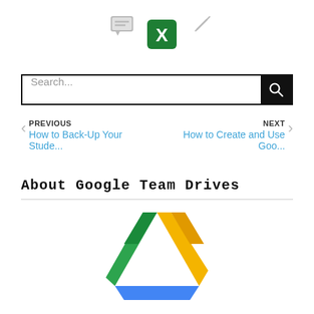[Figure (screenshot): Top icons: comment bubble icon (gray), green X/Excel icon, pencil/edit icon (gray)]
[Figure (screenshot): Search bar with placeholder text 'Search...' and black search button with magnifying glass icon]
PREVIOUS
How to Back-Up Your Stude...
NEXT
How to Create and Use Goo...
About Google Team Drives
[Figure (logo): Google Drive logo — triangular icon with green, yellow, and blue segments]